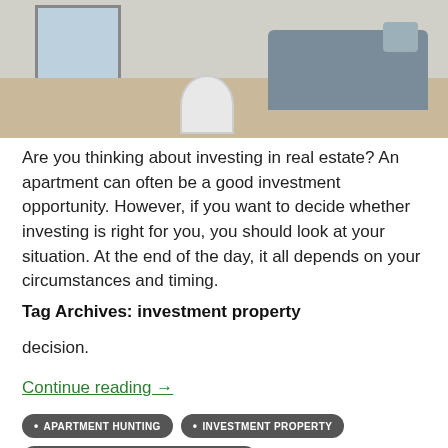[Figure (photo): Interior photo of a modern apartment living room with a grey sofa, small round white side table, hardwood floors, and a window in the background.]
Are you thinking about investing in real estate? An apartment can often be a good investment opportunity. However, if you want to decide whether investing is right for you, you should look at your situation. At the end of the day, it all depends on your circumstances and timing.
Tag Archives: investment property
decision.
Continue reading →
APARTMENT HUNTING
INVESTMENT PROPERTY
REALTY EXECUTIVES INTERNATIONAL